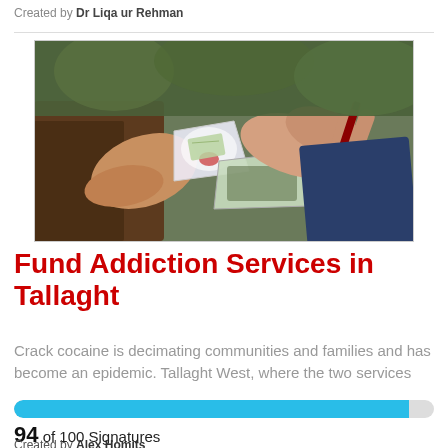Created by Dr Liqa ur Rehman
[Figure (photo): Hands exchanging small bags of drugs and cash — a close-up photo depicting a drug transaction]
Fund Addiction Services in Tallaght
Crack cocaine is decimating communities and families and has become an epidemic. Tallaght West, where the two services
[Figure (infographic): Progress bar showing 94 out of 100 signatures filled in blue]
94 of 100 Signatures
Created by Alex Homits